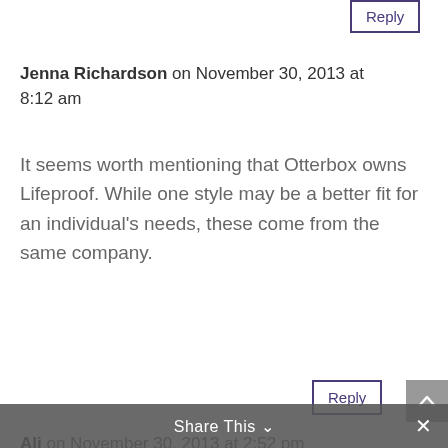[Figure (screenshot): Reply button at top right, partially visible]
Jenna Richardson on November 30, 2013 at 8:12 am
It seems worth mentioning that Otterbox owns Lifeproof. While one style may be a better fit for an individual's needs, these come from the same company.
[Figure (screenshot): Reply button below Jenna Richardson comment]
Ali on November 30, 2013 at 2:52 pm
I just purchased a lifeproof case and did the water test. The case leaked. I have to return it and exchange it for a new one.
[Figure (screenshot): Share This bar at bottom of page with close X button]